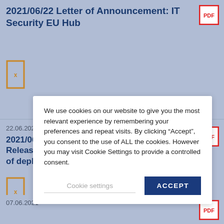2021/06/22 Letter of Announcement: IT Security EU Hub
[Figure (other): PDF icon top right]
[Figure (other): Document icon (orange outline) with X label]
22.06.2021
2021/06/22 Letter of Announcement: New Release of the EMVO Gateway: Confirmation of deployment
[Figure (other): PDF icon right side]
[Figure (other): Document icon (orange outline) with X label]
We use cookies on our website to give you the most relevant experience by remembering your preferences and repeat visits. By clicking “Accept”, you consent to the use of ALL the cookies. However you may visit Cookie Settings to provide a controlled consent.
Cookie settings
ACCEPT
14.
20
Re
07.06.2021
[Figure (other): PDF icon bottom right]